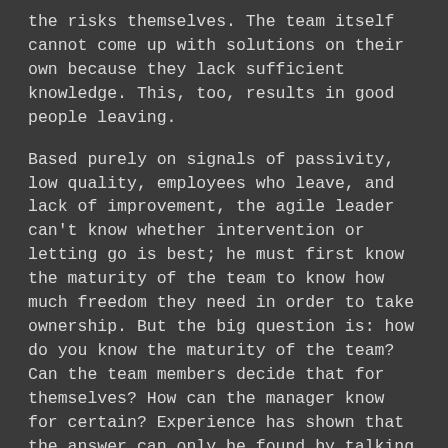the risks themselves. The team itself cannot come up with solutions on their own because they lack sufficient knowledge. This, too, results in good people leaving.
Based purely on signals of passivity, low quality, employees who leave, and lack of improvement, the agile leader can't know whether intervention or letting go is best; he must first know the maturity of the team to know how much freedom they need in order to take ownership. But the big question is: how do you know the maturity of the team? Can the team members decide that for themselves? How can the manager know for certain? Experience has shown that the answer can only be found by talking about it together.
Tool 3: Ownership Model: The Ownership Model visualizes the relationship between the freedom and